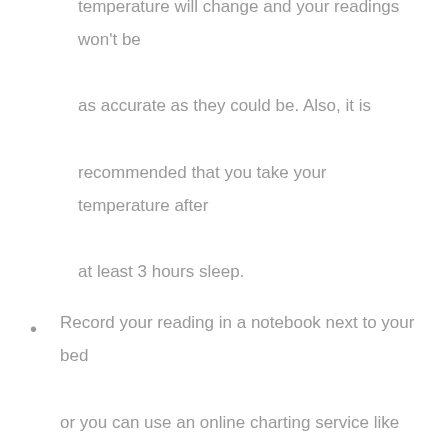temperature will change and your readings won't be as accurate as they could be. Also, it is recommended that you take your temperature after at least 3 hours sleep.
Record your reading in a notebook next to your bed or you can use an online charting service like Fertility Friend. They offer a free service where you can log your fertility signs and temperatures and they will even suggest when you ovulated based on your signs and temperatures.
You can also make records of other signs life Egg